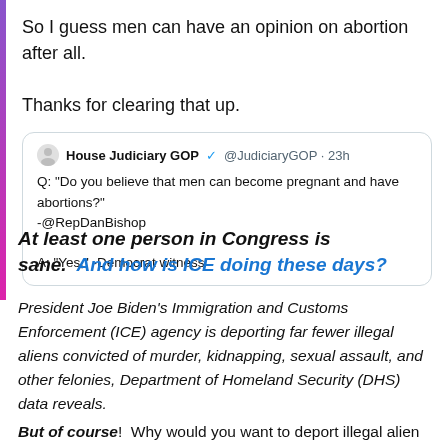[Figure (screenshot): Screenshot of a social media post. Text reads: 'So I guess men can have an opinion on abortion after all. Thanks for clearing that up.' with an embedded quote tweet from House Judiciary GOP @JudiciaryGOP · 23h: Q: "Do you believe that men can become pregnant and have abortions?" -@RepDanBishop. A: "Yes," -Democrat witness]
At least one person in Congress is sane.  And how is ICE doing these days?
President Joe Biden's Immigration and Customs Enforcement (ICE) agency is deporting far fewer illegal aliens convicted of murder, kidnapping, sexual assault, and other felonies, Department of Homeland Security (DHS) data reveals.
But of course!  Why would you want to deport illegal alien